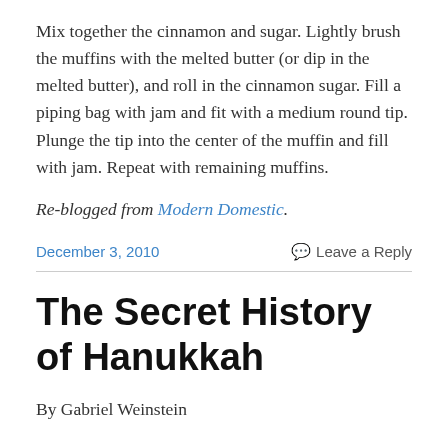Mix together the cinnamon and sugar. Lightly brush the muffins with the melted butter (or dip in the melted butter), and roll in the cinnamon sugar. Fill a piping bag with jam and fit with a medium round tip. Plunge the tip into the center of the muffin and fill with jam. Repeat with remaining muffins.
Re-blogged from Modern Domestic.
December 3, 2010
Leave a Reply
The Secret History of Hanukkah
By Gabriel Weinstein